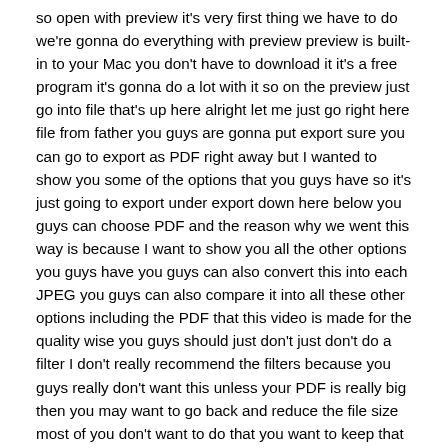so open with preview it's very first thing we have to do we're gonna do everything with preview preview is built-in to your Mac you don't have to download it it's a free program it's gonna do a lot with it so on the preview just go into file that's up here alright let me just go right here file from father you guys are gonna put export sure you can go to export as PDF right away but I wanted to show you some of the options that you guys have so it's just going to export under export down here below you guys can choose PDF and the reason why we went this way is because I want to show you all the other options you guys have you guys can also convert this into each JPEG you guys can also compare it into all these other options including the PDF that this video is made for the quality wise you guys should just don't just don't do a filter I don't really recommend the filters because you guys really don't want this unless your PDF is really big then you may want to go back and reduce the file size most of you don't want to do that you want to keep that quality that your JPEG or PNG is that so just leave it as is and that's it just press save so if I go back I should see my PDF Radia alright so it's the same thing if I want to do the same thing with my JPEG or PNG alright so I'm gonna open up this guy go to the exact same thing file export and PDF okay I'm gonna replace it has the same name so that's why but for this sample video the same thing so here's my PDF so again you don't need Acrobat you guys don't need anything in order to do this it's really really simple anyways if you guys have any comments questions you can written down here in the comments area don't forget